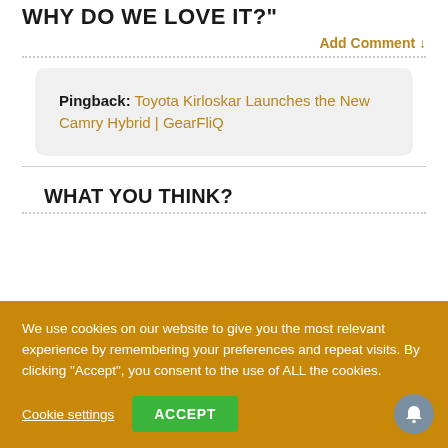WHY DO WE LOVE IT?"
Add Comment ↓
Pingback: Toyota Kirloskar Launches the New Camry Hybrid | GearFliQ
WHAT YOU THINK?
We use cookies on our website to give you the most relevant experience by remembering your preferences and repeat visits. By clicking "Accept", you consent to the use of ALL the cookies.
Cookie settings
ACCEPT